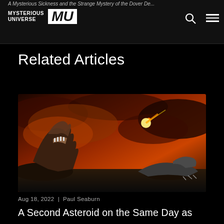A Mysterious Sickness and the Strange Mystery of the Dover Demon | MYSTERIOUS UNIVERSE
Related Articles
[Figure (photo): Dramatic digital artwork depicting two dinosaurs facing each other with a blazing asteroid or meteor streaking across a dark, fiery sky with red and orange clouds in the background.]
Aug 18, 2022  |  Paul Seaburn
A Second Asteroid on the Same Day as